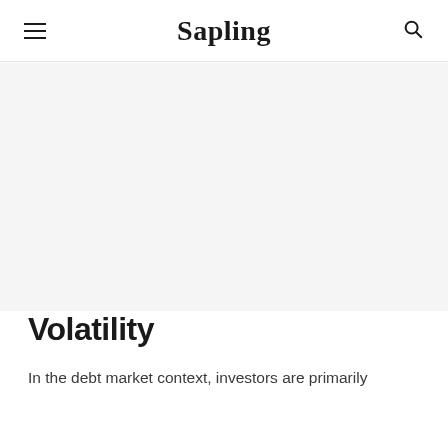Sapling
[Figure (other): Gray placeholder hero image area]
Volatility
In the debt market context, investors are primarily